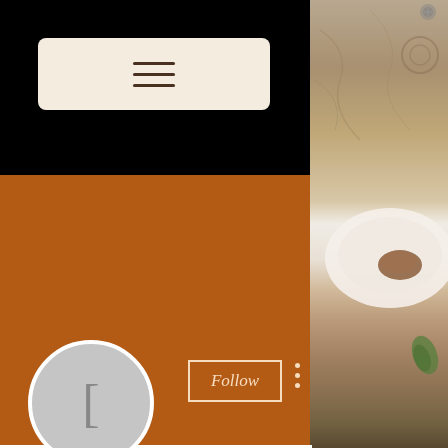[Figure (screenshot): Hamburger menu button on black background]
[Figure (screenshot): Orange/brown profile header with avatar circle, Follow button and three-dots menu]
[.123Movies.] – Spider-Man: N...
0 Followers • 0 Following
Profile
Join date: May 25, 2022
[Figure (photo): Wooden surface with food/drink items on right side strip]